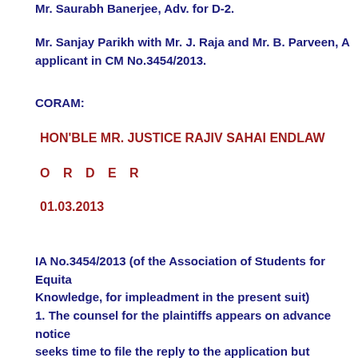Mr. Saurabh Banerjee, Adv. for D-2.
Mr. Sanjay Parikh with Mr. J. Raja and Mr. B. Parveen, A applicant in CM No.3454/2013.
CORAM:
HON'BLE MR. JUSTICE RAJIV SAHAI ENDLAW
O R D E R
01.03.2013
IA No.3454/2013 (of the Association of Students for Equita Knowledge, for impleadment in the present suit)
1. The counsel for the plaintiffs appears on advance notice seeks time to file the reply to the application but considerin nature of the application, it is not deemed appropriate to k